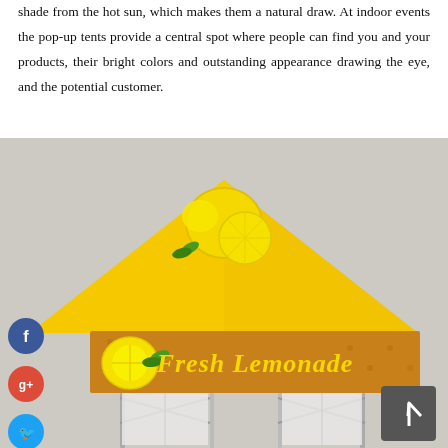shade from the hot sun, which makes them a natural draw. At indoor events the pop-up tents provide a central spot where people can find you and your products, their bright colors and outstanding appearance drawing the eye, and the potential customer.
[Figure (photo): A pop-up tent with yellow canopy printed with lemon graphics and a brown valance banner reading 'Fresh Lemonade' in yellow script. The tent has metal frame legs and white side panels. Social media share buttons (Facebook, Google+, Twitter, plus) appear on the left side. A scroll-to-top arrow button appears bottom right.]